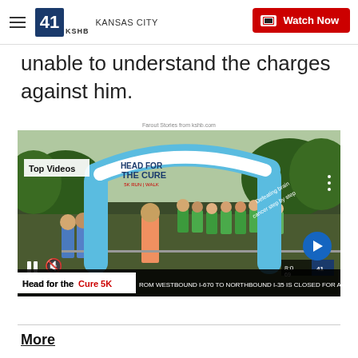41 KSHB KANSAS CITY | Watch Now
unable to understand the charges against him.
Farout Stories from kshb.com
[Figure (screenshot): Video player screenshot showing Head for the Cure 5K event with participants under an inflatable arch. Top Videos label visible. Controls bar at bottom with pause button, volume icon, next arrow button. Lower ticker bar reads: Head for the Cure 5K | ROM WESTBOUND I-670 TO NORTHBOUND I-35 IS CLOSED FOR APPRO]
More …